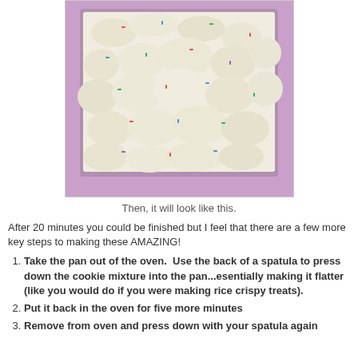[Figure (photo): A photo of white fluffy cookie mixture with colorful sprinkles pressed into a purple/lavender baking pan, viewed from above.]
Then, it will look like this.
After 20 minutes you could be finished but I feel that there are a few more key steps to making these AMAZING!
Take the pan out of the oven.  Use the back of a spatula to press down the cookie mixture into the pan...esentially making it flatter (like you would do if you were making rice crispy treats).
Put it back in the oven for five more minutes
Remove from oven and press down with your spatula again